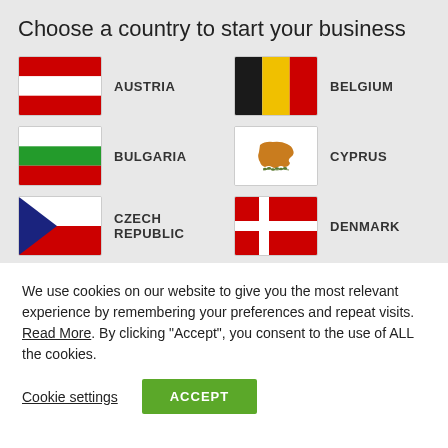Choose a country to start your business
[Figure (other): Grid of country flags with labels: Austria, Belgium, Bulgaria, Cyprus, Czech Republic, Denmark, Estonia, Finland]
We use cookies on our website to give you the most relevant experience by remembering your preferences and repeat visits. Read More. By clicking “Accept”, you consent to the use of ALL the cookies.
Cookie settings
ACCEPT